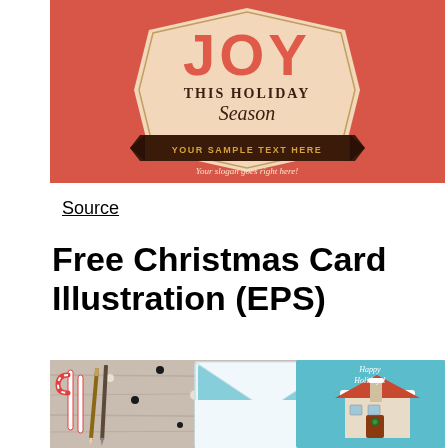[Figure (illustration): Christmas holiday card banner with coral/red background. Large text 'JOY' at top in bold coral letters with a cream/beige hexagonal badge behind it. Below: 'THIS HOLIDAY Season' in dark serif font. A dark brown ribbon banner reads 'YOUR SAMPLE TEXT HERE' in small caps. Below that in script: 'Your slogan goes right here!']
Source
Free Christmas Card Illustration (EPS)
[Figure (photo): Photo of Christmas card and envelope on a wooden table surface with confetti/dots scattered around. On the left: candy canes and pencils. Center: an open light blue envelope. Right: a Christmas card showing a snow-covered house illustration with 'Happy Holidays!' text on a teal/blue background.]